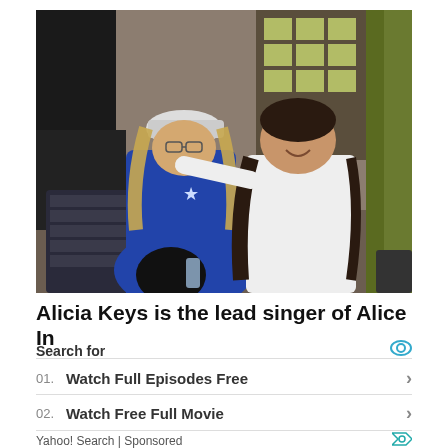[Figure (photo): Two people posing together indoors, one wearing a blue jacket and white beanie, the other in a white t-shirt with long dark hair. Background shows bulletin board with papers and a wooden door frame.]
Alicia Keys is the lead singer of Alice In
Search for
01.  Watch Full Episodes Free
02.  Watch Free Full Movie
Yahoo! Search | Sponsored